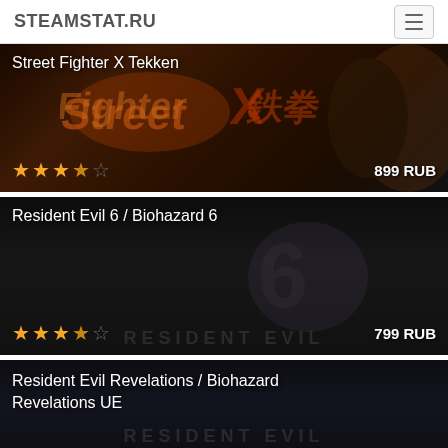STEAMSTAT.RU
[Figure (screenshot): Street Fighter X Tekken game card with dark background, stylized logo graphics, rating 3.5/5 stars, price 899 RUB]
[Figure (screenshot): Resident Evil 6 / Biohazard 6 game card with dark background, RE6 logo, rating 3.5/5 stars, price 799 RUB]
[Figure (screenshot): Resident Evil Revelations / Biohazard Revelations UE game card with dark background, partially visible]